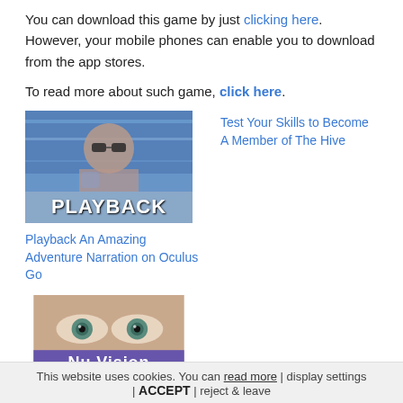You can download this game by just clicking here. However, your mobile phones can enable you to download from the app stores.
To read more about such game, click here.
[Figure (photo): Thumbnail image with text PLAYBACK overlaid, showing a woman with glasses]
Playback An Amazing Adventure Narration on Oculus Go
Test Your Skills to Become A Member of The Hive
[Figure (photo): Thumbnail image with partial text Nu Vision showing a close-up of eyes]
This website uses cookies. You can read more | display settings | ACCEPT | reject & leave